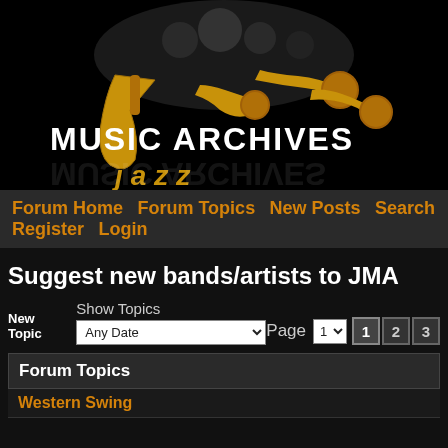[Figure (illustration): Jazz Music Archives banner with musicians playing instruments, saxophones, trumpets in gold against black background, with 'MUSIC ARCHIVES jazz' text]
Forum Home  Forum Topics  New Posts  Search  Register  Login
Suggest new bands/artists to JMA
New Topic  Show Topics  Any Date  Page  1  1  2  3
Forum Topics
Western Swing